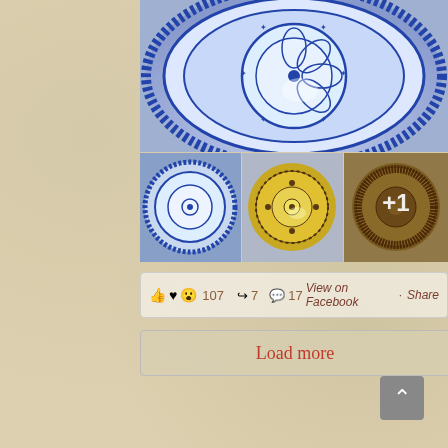[Figure (photo): Close-up of a decorative blue and white ceramic plate with intricate floral and geometric patterns, scalloped border]
[Figure (photo): Small blue and white ceramic plate with circular geometric pattern]
[Figure (photo): Yellow ceramic plate with dark brown floral and circular decorative pattern]
[Figure (photo): Yellow-brown ceramic plate with dense dark brown floral pattern, with +1 overlay text]
👍 ♥ 😮 107   ↪ 7   💬 17   View on Facebook · Share
Load more